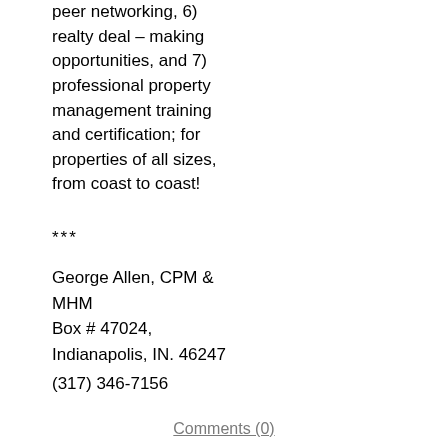peer networking, 6) realty deal – making opportunities, and 7) professional property management training and certification; for properties of all sizes, from coast to coast!
***
George Allen, CPM & MHM
Box # 47024,
Indianapolis, IN. 46247
(317) 346-7156
Comments (0)